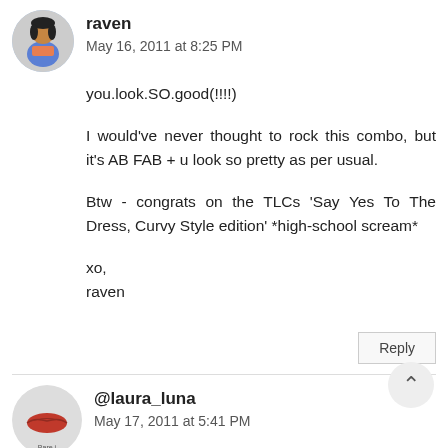[Figure (illustration): Avatar photo of raven, woman in colorful outfit]
raven
May 16, 2011 at 8:25 PM
you.look.SO.good(!!!!!)
I would've never thought to rock this combo, but it's AB FAB + u look so pretty as per usual.
Btw - congrats on the TLCs 'Say Yes To The Dress, Curvy Style edition' *high-school scream*
xo,
raven
Reply
[Figure (illustration): Avatar logo of @laura_luna, lips/kiss mark graphic]
@laura_luna
May 17, 2011 at 5:41 PM